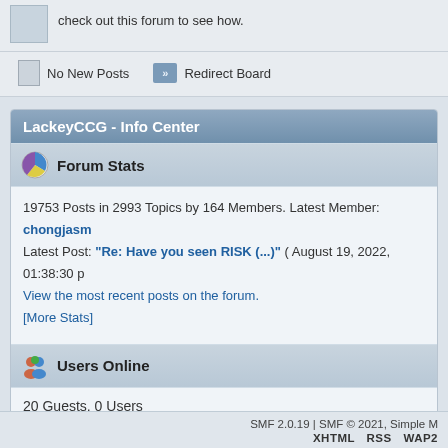check out this forum to see how.
No New Posts
Redirect Board
LackeyCCG - Info Center
Forum Stats
19753 Posts in 2993 Topics by 164 Members. Latest Member: chongjasm
Latest Post: "Re: Have you seen RISK (...)" ( August 19, 2022, 01:38:30 p
View the most recent posts on the forum.
[More Stats]
Users Online
20 Guests, 0 Users
Most Online Today: 20. Most Online Ever: 853 (January 22, 2020, 01:18:03 pm)
SMF 2.0.19 | SMF © 2021, Simple M
XHTML   RSS   WAP2